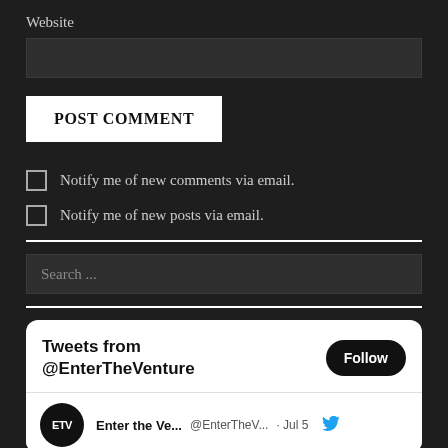Website
POST COMMENT
Notify me of new comments via email.
Notify me of new posts via email.
Search ...
Tweets from @EnterTheVenture
Follow
Enter the Ve... @EnterTheV... · Jul 5